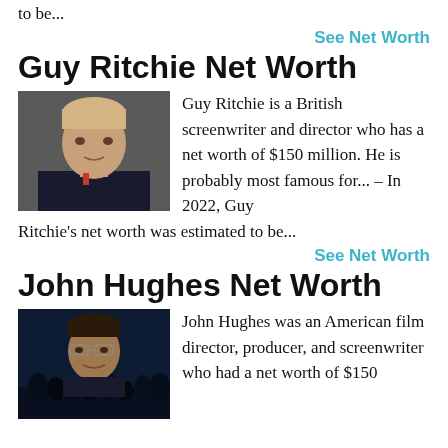to be...
See Net Worth
Guy Ritchie Net Worth
[Figure (photo): Headshot photo of Guy Ritchie, a man with short blonde hair wearing a dark suit, photographed at an event]
Guy Ritchie is a British screenwriter and director who has a net worth of $150 million. He is probably most famous for... – In 2022, Guy Ritchie's net worth was estimated to be...
See Net Worth
John Hughes Net Worth
[Figure (photo): Black and white style photo of John Hughes, showing a man with glasses, with silhouettes of people in background suggesting a movie scene]
John Hughes was an American film director, producer, and screenwriter who had a net worth of $150